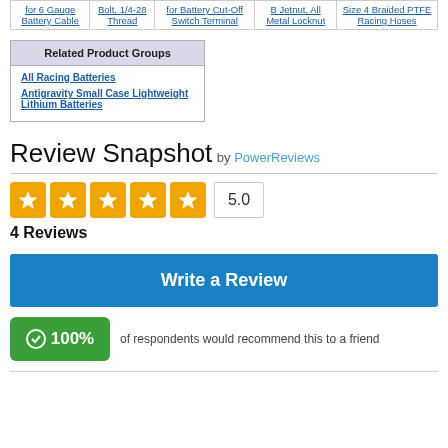|  |  |  |  |  |
| --- | --- | --- | --- | --- |
| for 6 Gauge Battery Cable | Bolt, 1/4-28 Thread | for Battery Cut-Off Switch Terminal | B Jetnut, All Metal Locknut | Size 4 Braided PTFE Racing Hoses |
Related Product Groups
All Racing Batteries
Antigravity Small Case Lightweight Lithium Batteries
Review Snapshot by PowerReviews
[Figure (other): Five orange star rating icons with score box showing 5.0]
4 Reviews
Write a Review
100% of respondents would recommend this to a friend